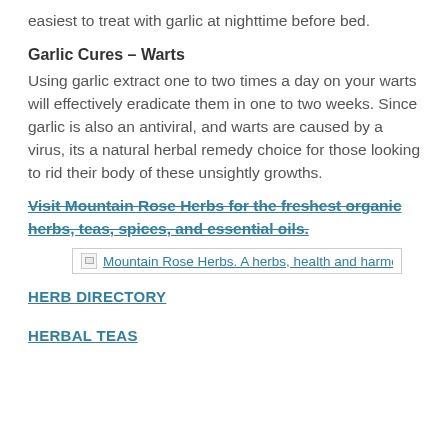easiest to treat with garlic at nighttime before bed.
Garlic Cures – Warts
Using garlic extract one to two times a day on your warts will effectively eradicate them in one to two weeks. Since garlic is also an antiviral, and warts are caused by a virus, its a natural herbal remedy choice for those looking to rid their body of these unsightly growths.
Visit Mountain Rose Herbs for the freshest organic herbs, teas, spices, and essential oils.
[Figure (other): Broken image placeholder for Mountain Rose Herbs. A herbs, health and harmony company.]
HERB DIRECTORY
HERBAL TEAS